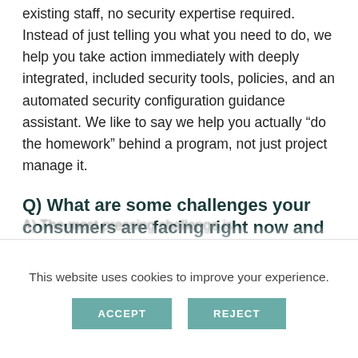existing staff, no security expertise required. Instead of just telling you what you need to do, we help you take action immediately with deeply integrated, included security tools, policies, and an automated security configuration guidance assistant. We like to say we help you actually “do the homework” behind a program, not just project manage it.
Q) What are some challenges your consumers are facing right now and how does your company help?
[partially visible text below section header]
This website uses cookies to improve your experience.